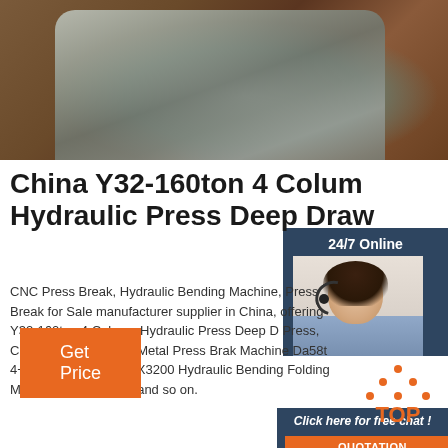[Figure (photo): Close-up photograph of metal hydraulic press components, bolts and fittings, with a reddish-brown background]
[Figure (photo): 24/7 Online customer service agent photo – woman with headset smiling, overlaid on dark navy panel with 'Click here for free chat!' text and orange QUOTATION button]
China Y32-160ton 4 Column Hydraulic Press Deep Draw
CNC Press Break, Hydraulic Bending Machine, Press Break for Sale manufacturer supplier in China, offering Y32-160ton 4 Column Hydraulic Press Deep Draw Press, CNC Hydraulic Sheet Metal Press Brake Machine Da58t 4+1 Axes, Wc67y-125X3200 Hydraulic Bending Folding Machine Press Brake and so on.
[Figure (other): Get Price orange button]
[Figure (other): TOP icon with orange dots and text]